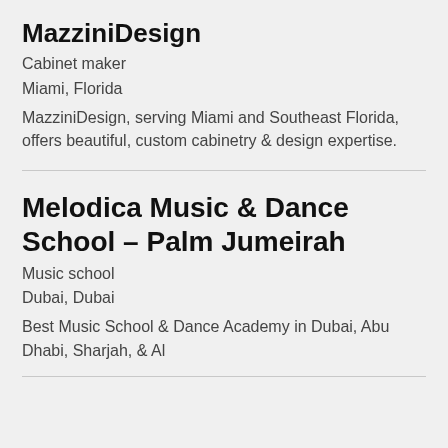MazziniDesign
Cabinet maker
Miami, Florida
MazziniDesign, serving Miami and Southeast Florida, offers beautiful, custom cabinetry & design expertise.
Melodica Music & Dance School – Palm Jumeirah
Music school
Dubai, Dubai
Best Music School & Dance Academy in Dubai, Abu Dhabi, Sharjah, & Al